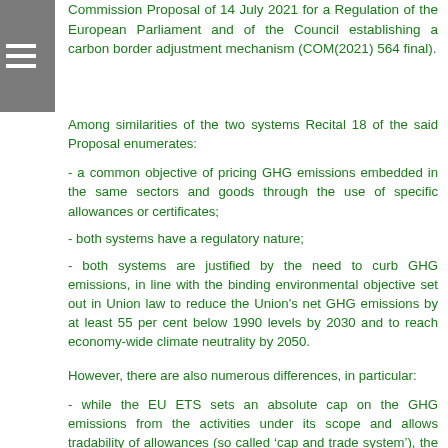Commission Proposal of 14 July 2021 for a Regulation of the European Parliament and of the Council establishing a carbon border adjustment mechanism (COM(2021) 564 final).
Among similarities of the two systems Recital 18 of the said Proposal enumerates:
- a common objective of pricing GHG emissions embedded in the same sectors and goods through the use of specific allowances or certificates;
- both systems have a regulatory nature;
- both systems are justified by the need to curb GHG emissions, in line with the binding environmental objective set out in Union law to reduce the Union's net GHG emissions by at least 55 per cent below 1990 levels by 2030 and to reach economy-wide climate neutrality by 2050.
However, there are also numerous differences, in particular:
- while the EU ETS sets an absolute cap on the GHG emissions from the activities under its scope and allows tradability of allowances (so called ‘cap and trade system’), the CBAM does not establish quantitative limits to import, so as to ensure that trade flows are not restricted (the CBAM cannot introduce a cap on emissions outside the EU, in order to avoid restricting international trade);
- while the EU ETS applies to installations based in the European Union,